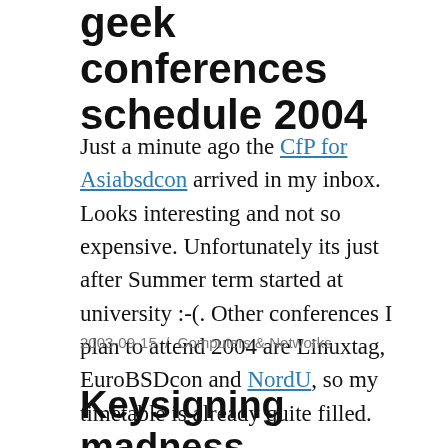geek conferences schedule 2004
Just a minute ago the CfP for Asiabsdcon arrived in my inbox. Looks interesting and not so expensive. Unfortunately its just after Summer term started at university :-(. Other conferences I plan to attend 2004 are Linuxtag, EuroBSDcon and NordU, so my timetable is already quite filled.
2003-09-15 / Computers & Networks
Keysigning madness
Today I started to...